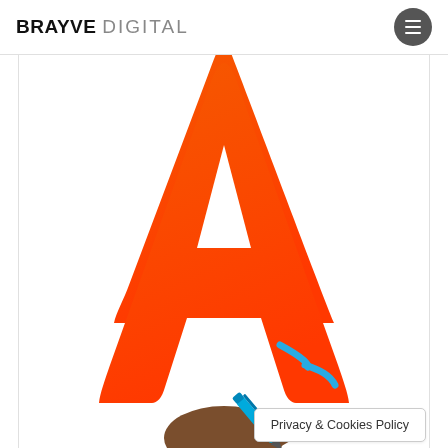BRAYVE DIGITAL
[Figure (illustration): Large orange letter A character illustration in the upper center portion of the page, and partial illustration of a cartoon child with brown hair and a blue pen/pencil at the bottom]
Privacy & Cookies Policy